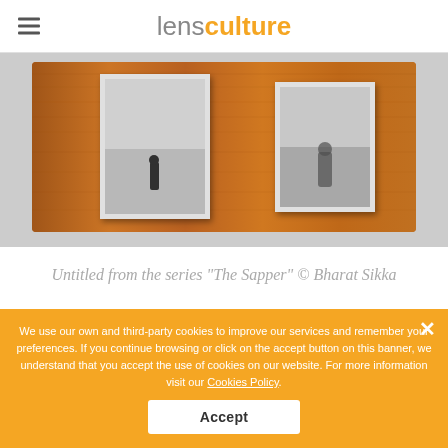lens culture
[Figure (photo): Framed wooden display with black and white photographs — figures in misty landscape scenes mounted on a warm wood-toned frame]
Untitled from the series “The Sapper” © Bharat Sikka
We use our own and third-party cookies to improve our services and remember your preferences. If you continue browsing or click on the accept button on this banner, we understand that you accept the use of cookies on our website. For more information visit our Cookies Policy.
Accept